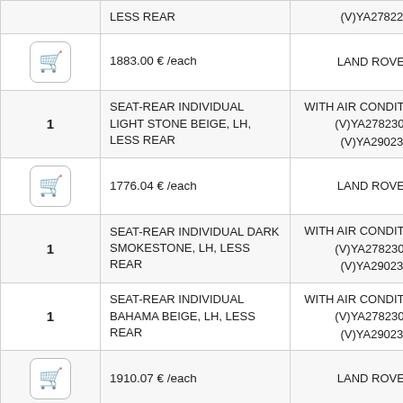| Qty/Cart | Description | Details |
| --- | --- | --- |
|  | LESS REAR | (V)YA278229 |
| 🛒 | 1883.00 € /each | LAND ROVER |
| 1 | SEAT-REAR INDIVIDUAL LIGHT STONE BEIGE, LH, LESS REAR | WITH AIR CONDITIONING (V)YA278230- - (V)YA290236 |
| 🛒 | 1776.04 € /each | LAND ROVER |
| 1 | SEAT-REAR INDIVIDUAL DARK SMOKESTONE, LH, LESS REAR | WITH AIR CONDITIONING (V)YA278230- - (V)YA290236 |
| 1 | SEAT-REAR INDIVIDUAL BAHAMA BEIGE, LH, LESS REAR | WITH AIR CONDITIONING (V)YA278230- - (V)YA290236 |
| 🛒 | 1910.07 € /each | LAND ROVER |